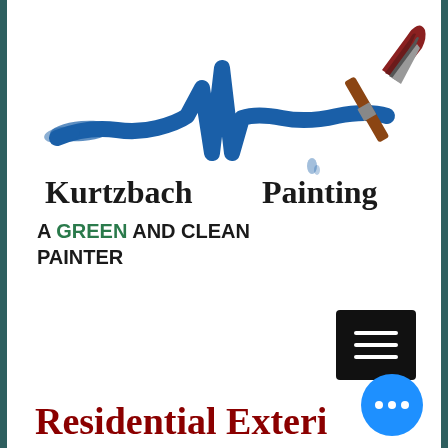[Figure (logo): Kurtzbach Painting logo with a blue paint brushstroke forming a heartbeat/EKG line shape with a paintbrush at the right end, and the text 'Kurtzbach Painting' below in dark serif font]
A GREEN AND CLEAN PAINTER
[Figure (screenshot): Black hamburger menu button with three white horizontal lines]
Residential Exterior
[Figure (other): Blue circular chat bubble button with three white dots]